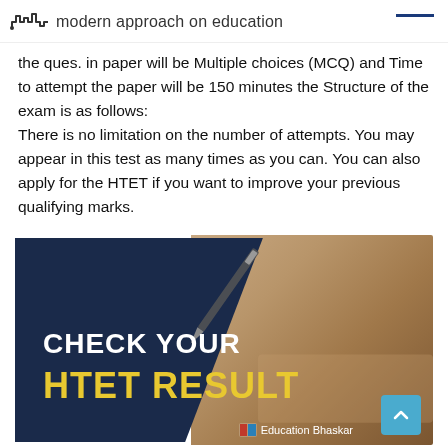modern approach on education
the ques. in paper will be Multiple choices (MCQ) and Time to attempt the paper will be 150 minutes the Structure of the exam is as follows:
There is no limitation on the number of attempts. You may appear in this test as many times as you can. You can also apply for the HTET if you want to improve your previous qualifying marks.
[Figure (infographic): Promotional banner with dark navy blue background on the left and a photo of a person writing with a pen on the right. Text reads 'CHECK YOUR' in white and 'HTET RESULT' in yellow/gold. Education Bhaskar logo at bottom right with a teal scroll-to-top button.]